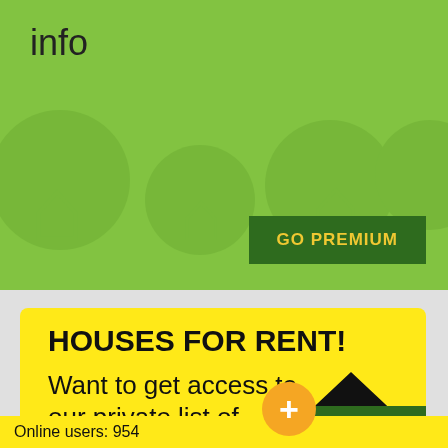info
GO PREMIUM
HOUSES FOR RENT!
Want to get access to our private list of houses for rent?
[Figure (illustration): Black house/home icon silhouette]
We will help you to find a place to rent fast!
VIEW HOUSES
Online users: 954